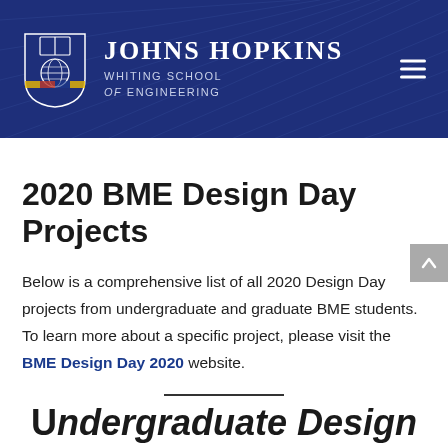[Figure (logo): Johns Hopkins Whiting School of Engineering logo/header with shield, name, and hamburger menu on dark blue background]
2020 BME Design Day Projects
Below is a comprehensive list of all 2020 Design Day projects from undergraduate and graduate BME students. To learn more about a specific project, please visit the BME Design Day 2020 website.
Undergraduate Design Projects